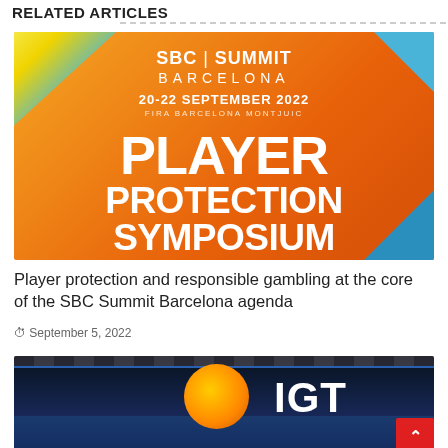RELATED ARTICLES
[Figure (photo): SBC Summit Barcelona 2022 Player Protection Symposium promotional banner. Orange gradient background with large white text reading 'SBC | SUMMIT BARCELONA', '20-22 SEPTEMBER 2022', 'FIRA BARCELONA MONTJUIC', 'PLAYER PROTECTION SYMPOSIUM', '#SBCSUMMITBARCELONA']
Player protection and responsible gambling at the core of the SBC Summit Barcelona agenda
September 5, 2022
[Figure (photo): IGT exhibition booth at a trade show or conference. Dark interior convention hall with large IGT logo featuring orange/yellow starburst circle and white 'IGT' text. Blue LED screens visible in background. A red scroll-to-top button is visible in the lower right corner.]